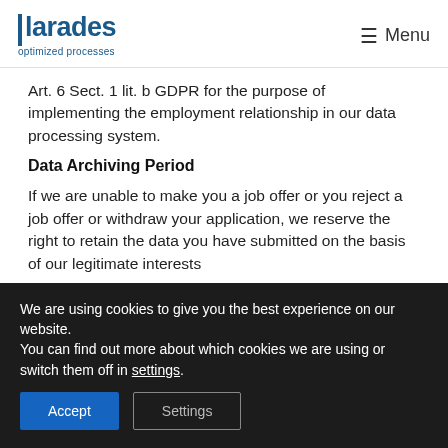larades optimized processes | Menu
Art. 6 Sect. 1 lit. b GDPR for the purpose of implementing the employment relationship in our data processing system.
Data Archiving Period
If we are unable to make you a job offer or you reject a job offer or withdraw your application, we reserve the right to retain the data you have submitted on the basis of our legitimate interests
We are using cookies to give you the best experience on our website.
You can find out more about which cookies we are using or switch them off in settings.
Accept | Settings